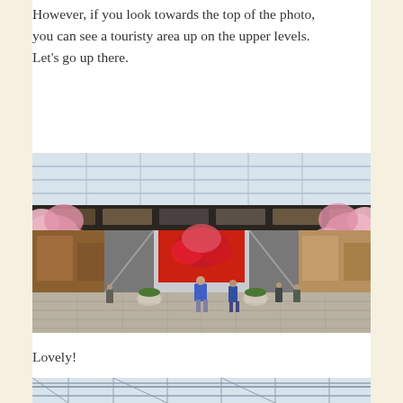However, if you look towards the top of the photo, you can see a touristy area up on the upper levels.  Let's go up there.
[Figure (photo): Interior of a large shopping or transit center with cherry blossom decorations (pink flowers) flanking both sides, escalators in the background, a red illuminated display in the center background, and several people walking on a wide tiled floor under a glass skylight ceiling.]
Lovely!
[Figure (photo): Partial view of the upper level of a large glass-roofed building, showing structural beams and a skylight ceiling, cropped at the bottom of the page.]